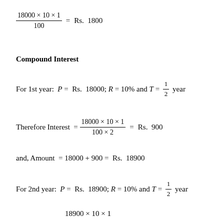Compound Interest
For 1st year: P = Rs. 18000; R = 10% and T = 1/2 year
and, Amount = 18000 + 900 = Rs. 18900
For 2nd year: P = Rs. 18900; R = 10% and T = 1/2 year